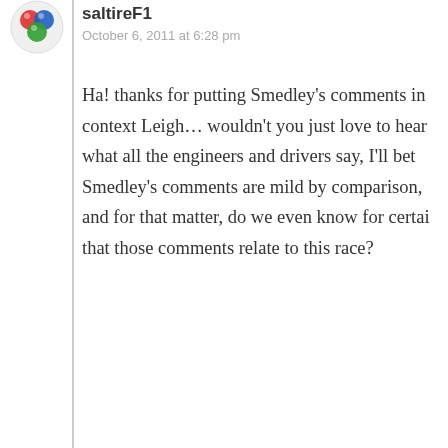saltireF1
October 6, 2011 at 6:28 pm
Ha! thanks for putting Smedley’s comments in context Leigh… wouldn’t you just love to hear what all the engineers and drivers say, I’ll bet Smedley’s comments are mild by comparison, and for that matter, do we even know for certai that those comments relate to this race?
Like
Loading…
Reply
The Speedgeek
October 8, 2011 at 2:29 pm